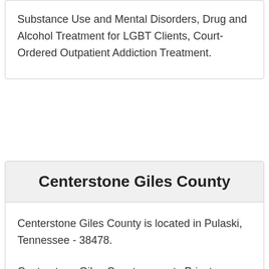Substance Use and Mental Disorders, Drug and Alcohol Treatment for LGBT Clients, Court-Ordered Outpatient Addiction Treatment.
Centerstone Giles County
Centerstone Giles County is located in Pulaski, Tennessee - 38478.
Centerstone Giles County accepts Private Payment, Medicaid Covered Treatment, Medicare Insurance for the following treatment approaches: Individual Addiction Treatment Therapy, Family and Couples